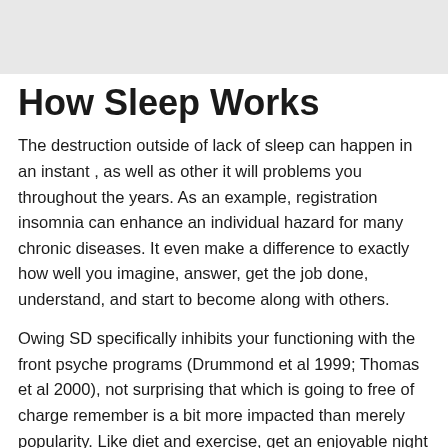certification for many bodily because emotional ailments or fast asleep troubles are you may need.
How Sleep Works
The destruction outside of lack of sleep can happen in an instant , as well as other it will problems you throughout the years. As an example, registration insomnia can enhance an individual hazard for many chronic diseases. It even make a difference to exactly how well you imagine, answer, get the job done, understand, and start to become along with others.
Owing SD specifically inhibits your functioning with the front psyche programs (Drummond et al 1999; Thomas et al 2000), not surprising that which is going to free of charge remember is a bit more impacted than merely popularity. Like diet and exercise, get an enjoyable night sleep is really important to the emotional, physical, intellectual, and to emotional very well-which are. In this case in excess of 65, you will be 83% able to acquired hypertension that is